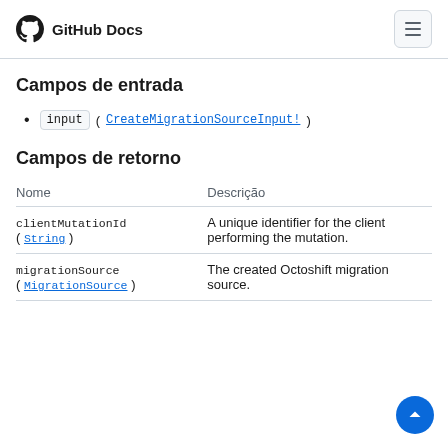GitHub Docs
Campos de entrada
input ( CreateMigrationSourceInput! )
Campos de retorno
| Nome | Descrição |
| --- | --- |
| clientMutationId ( String ) | A unique identifier for the client performing the mutation. |
| migrationSource ( MigrationSource ) | The created Octoshift migration source. |